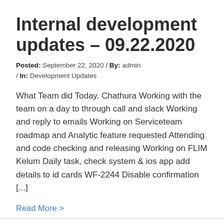Internal development updates – 09.22.2020
Posted: September 22, 2020  /  By: admin  /  In: Development Updates
What Team did Today. Chathura Working with the team on a day to through call and slack Working and reply to emails Working on Serviceteam roadmap and Analytic feature requested Attending and code checking and releasing Working on FLIM Kelum Daily task, check system & ios app add details to id cards WF-2244 Disable confirmation [...]
Read More >